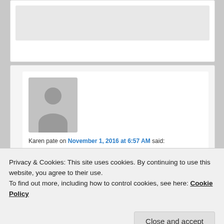[Figure (screenshot): Partial top comment card with grey image area]
[Figure (photo): Grey avatar placeholder silhouette image]
Karen pate on November 1, 2016 at 6:57 AM said:
Sorry I thought at one point you did dairy. I have been reading so much and everyone’s testimonials that I am probably getting everyone confused. 😉
I dont think I could get myself to eat raw meat. I
Privacy & Cookies: This site uses cookies. By continuing to use this website, you agree to their use.
To find out more, including how to control cookies, see here: Cookie Policy
Close and accept
weight is low.